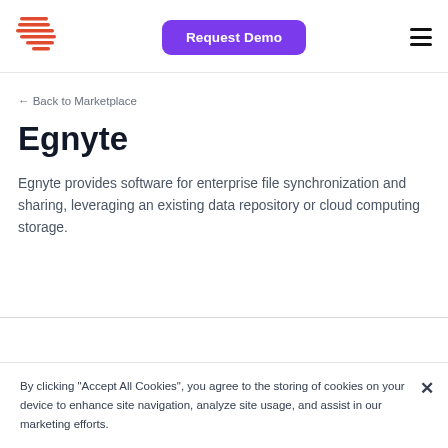[Figure (logo): Egnyte/company logo — red horizontal lines forming an abstract arrow shape]
[Figure (other): Purple 'Request Demo' button]
[Figure (other): Hamburger menu icon (three horizontal bars)]
← Back to Marketplace
Egnyte
Egnyte provides software for enterprise file synchronization and sharing, leveraging an existing data repository or cloud computing storage.
By clicking "Accept All Cookies", you agree to the storing of cookies on your device to enhance site navigation, analyze site usage, and assist in our marketing efforts.